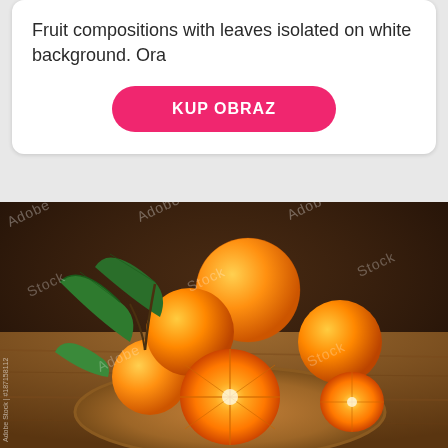Fruit compositions with leaves isolated on white background. Ora
[Figure (other): Pink rounded button labeled KUP OBRAZ]
[Figure (photo): Adobe Stock watermarked photo of oranges and mandarins with green leaves on a wooden cutting board on a rustic wooden table. Some oranges are whole, one is cut in half showing the interior. Background is dark brown wood.]